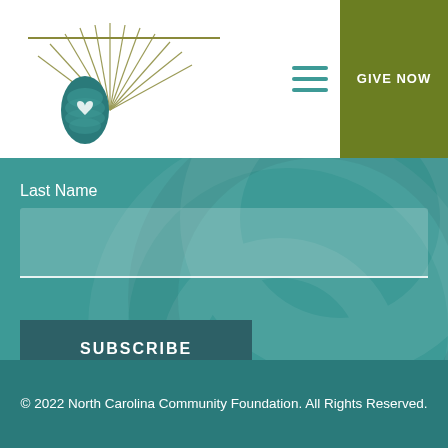[Figure (logo): North Carolina Community Foundation logo — pine cone with heart and pine needle fan design, with olive/gold horizontal line above]
GIVE NOW
Last Name
SUBSCRIBE
[Figure (other): Social media icon buttons: Facebook, Twitter, LinkedIn, Instagram]
© 2022 North Carolina Community Foundation. All Rights Reserved.